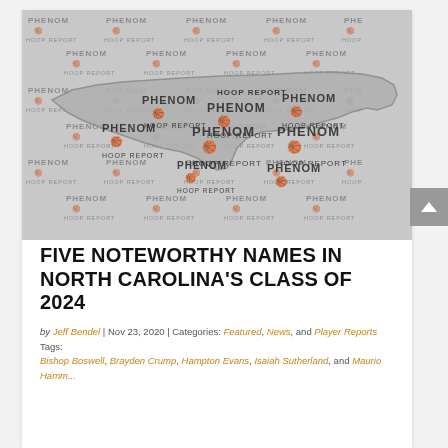[Figure (photo): Phenom Hoop Report branded image showing a watermark pattern background with repeating 'PHENOM HOOP REPORT' logos and a silhouette of the state of North Carolina overlaid in the center.]
FIVE NOTEWORTHY NAMES IN NORTH CAROLINA'S CLASS OF 2024
by Jeff Bendel | Nov 23, 2020 | Categories: Featured, News, and Player Reports Tags: Bishop Boswell, Brayden Crump, Hampton Evans, Isaiah Sutherland, and Maurio Hamm...